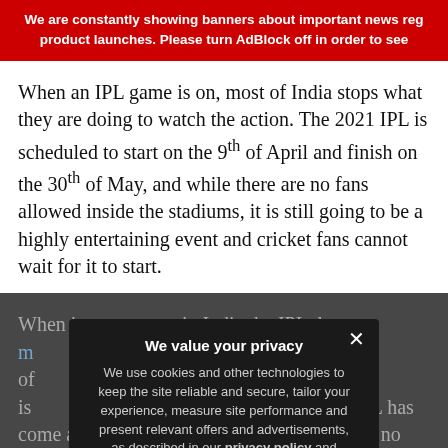We are constantly showing banners about important news reg product launches. Please turn AdBlock off in order to see
When an IPL game is on, most of India stops what they are doing to watch the action. The 2021 IPL is scheduled to start on the 9th of April and finish on the 30th of May, and while there are no fans allowed inside the stadiums, it is still going to be a highly entertaining event and cricket fans cannot wait for it to start.
When it comes to [streaming] in India the IPL draws [massive] [numbers]. [With a] variety of [teams] [representing] [national] team is [being] [watched]. [Whether] not playing or the IPL has come and been, Indian cricket fans will have no issues [watching] cricket events that do not include their beloved team, such as The Ashes between England and A[ustralia].
We value your privacy
We use cookies and other technologies to keep the site reliable and secure, tailor your experience, measure site performance and present relevant offers and advertisements, as described in our privacy policy and cookie policy.
Privacy Preferences
I Agree